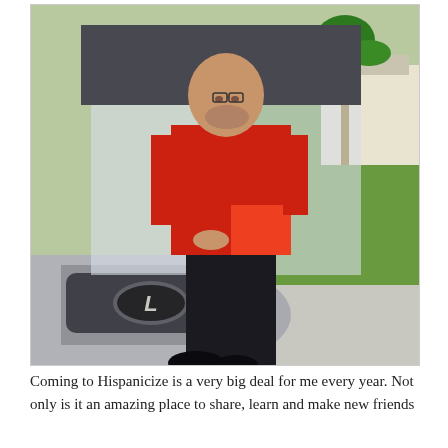[Figure (photo): A man in a red short-sleeve button-up shirt and black pants leaning against the front hood of a silver Lexus car in a driveway. Green lawn and palm trees visible in the background, along with a white house.]
Coming to Hispanicize is a very big deal for me every year. Not only is it an amazing place to share, learn and make new friends